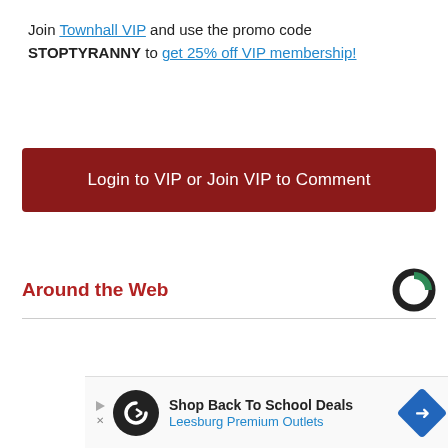Join Townhall VIP and use the promo code STOPTYRANNY to get 25% off VIP membership!
Login to VIP or Join VIP to Comment
Around the Web
[Figure (logo): Circular logo with black C shape and green quarter segment]
×
[Figure (screenshot): Advertisement banner: Shop Back To School Deals - Leesburg Premium Outlets]